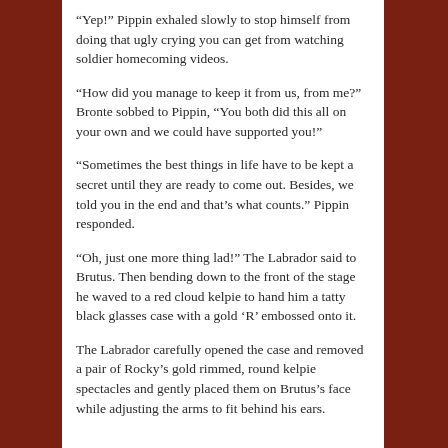“Yep!” Pippin exhaled slowly to stop himself from doing that ugly crying you can get from watching soldier homecoming videos.
“How did you manage to keep it from us, from me?” Bronte sobbed to Pippin, “You both did this all on your own and we could have supported you!”
“Sometimes the best things in life have to be kept a secret until they are ready to come out. Besides, we told you in the end and that’s what counts.” Pippin responded.
“Oh, just one more thing lad!” The Labrador said to Brutus. Then bending down to the front of the stage he waved to a red cloud kelpie to hand him a tatty black glasses case with a gold ‘R’ embossed onto it.
The Labrador carefully opened the case and removed a pair of Rocky’s gold rimmed, round kelpie spectacles and gently placed them on Brutus’s face while adjusting the arms to fit behind his ears.